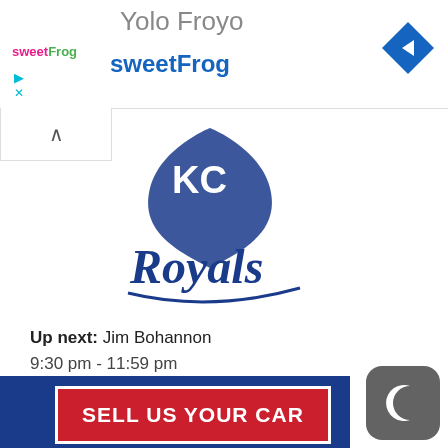[Figure (screenshot): Mobile app advertisement banner for sweetFrog frozen yogurt with blue navigation arrow icon]
[Figure (logo): Kansas City Royals MLB team logo in blue script]
Up next: Jim Bohannon
9:30 pm - 11:59 pm
[Figure (logo): The Jim Bohannon Show logo in navy blue serif text]
[Figure (illustration): Blue advertisement banner with red box reading SELL US YOUR CAR]
[Figure (logo): Gray rounded square icon with white crescent moon shape]